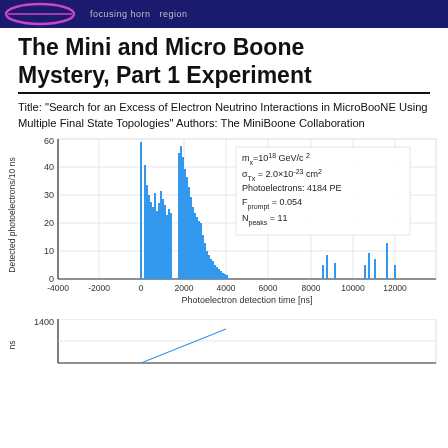focusing horn  region
The Mini and Micro Boone Mystery, Part 1 Experiment
Title: "Search for an Excess of Electron Neutrino Interactions in MicroBooNE Using Multiple Final State Topologies" Authors: The MiniBoone Collaboration
[Figure (continuous-plot): Histogram of detected photoelectrons/10 ns vs photoelectron detection time [ns] from -4000 to 12000 ns. Shows burst of counts near 0-3500 ns with peak around 60, then sparse late hits. Annotation shows: m_x=10^18 GeV/c^2, sigma_T_x = 2.0e-23 cm^2, Photoelectrons: 4184 PE, F_prompt = 0.054, N_peaks = 11]
[Figure (continuous-plot): Partial view of a second histogram at bottom, y-axis shows values around 1400, x-axis not fully visible]